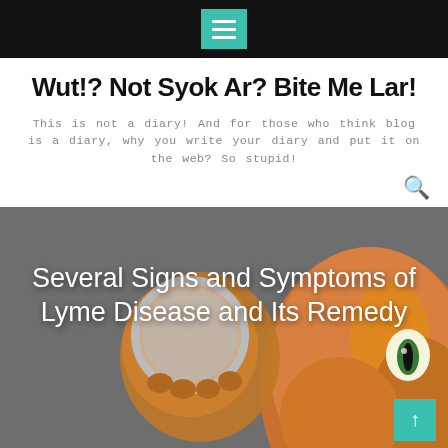Wut!? Not Syok Ar? Bite Me Lar!
This is not a diary! And for those who think blog is a diary, why you write your diary and put it on the web? So stupid!
[Figure (photo): A cat or stuffed animal toy holding a magnifying glass, hero image for the blog post]
Several Signs and Symptoms of Lyme Disease and Its Remedy
Home / 2008 / May / 31 /